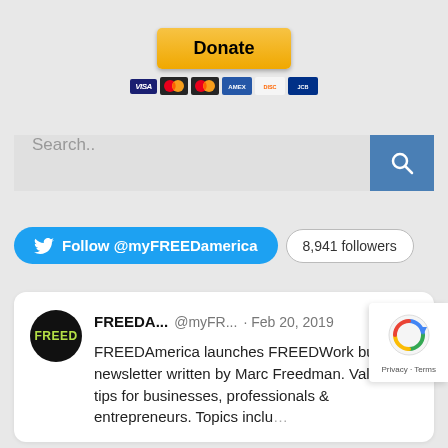[Figure (screenshot): PayPal Donate button with payment card icons (Visa, Mastercard, Mastercard, Amex, Discover, and another card)]
[Figure (screenshot): Search bar with text 'Search..' and a blue search button with magnifying glass icon]
[Figure (screenshot): Twitter Follow button '@myFREEDamerica' with '8,941 followers' badge]
FREEDAmerica launches FREEDWork business newsletter written by Marc Freedman. Valuable tips for businesses, professionals & entrepreneurs. Topics inclu...